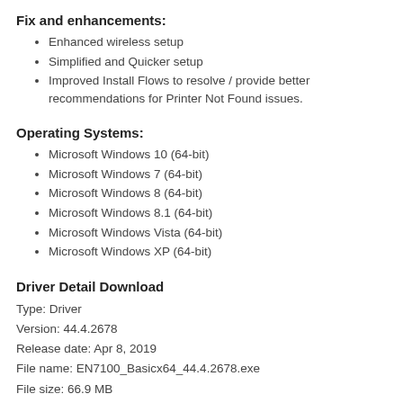Fix and enhancements:
Enhanced wireless setup
Simplified and Quicker setup
Improved Install Flows to resolve / provide better recommendations for Printer Not Found issues.
Operating Systems:
Microsoft Windows 10 (64-bit)
Microsoft Windows 7 (64-bit)
Microsoft Windows 8 (64-bit)
Microsoft Windows 8.1 (64-bit)
Microsoft Windows Vista (64-bit)
Microsoft Windows XP (64-bit)
Driver Detail Download
Type: Driver
Version: 44.4.2678
Release date: Apr 8, 2019
File name: EN7100_Basicx64_44.4.2678.exe
File size: 66.9 MB
Download